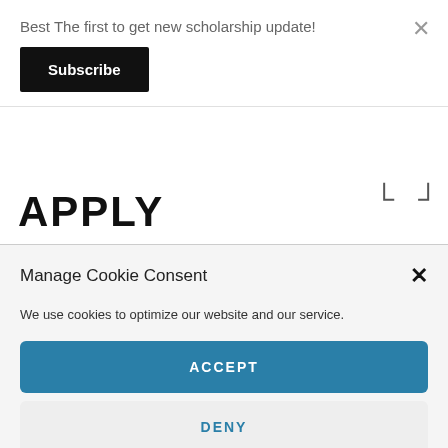Best The first to get new scholarship update!
Subscribe
APPLY
Manage Cookie Consent
We use cookies to optimize our website and our service.
ACCEPT
DENY
PREFERENCES
Privacy Policy